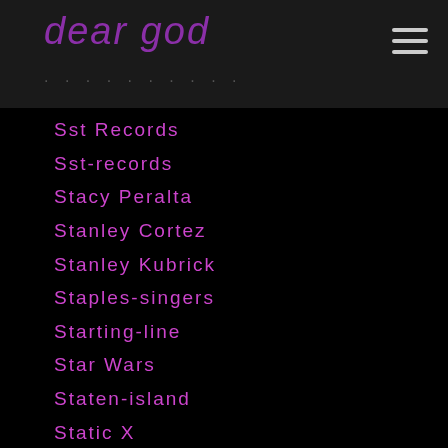dear god
Sst Records
Sst-records
Stacy Peralta
Stanley Cortez
Stanley Kubrick
Staples-singers
Starting-line
Star Wars
Staten-island
Static X
Stax-records
St. Cinder
Steel-pulse
Steezus-christ
Stephanie Mannaerts
Stephan Jenkins
Stephen Brodsky